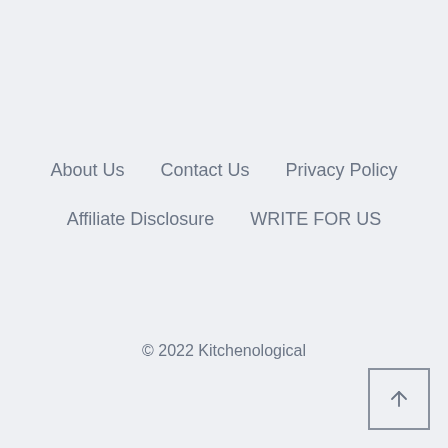About Us    Contact Us    Privacy Policy    Affiliate Disclosure    WRITE FOR US
© 2022 Kitchenological